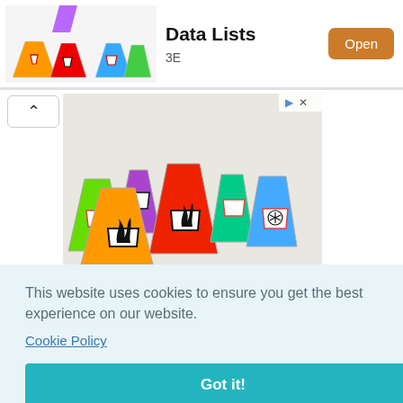[Figure (photo): Colorful Erlenmeyer flasks with GHS hazard pictogram labels (flammable, toxic, biohazard, radioactive, corrosive, etc.) in orange, red, blue, green, purple]
Data Lists
3E
[Figure (photo): Advertisement image: colorful chemical flasks with GHS hazard symbols]
This website uses cookies to ensure you get the best experience on our website.
Cookie Policy
Got it!
S
Hayfever Eye Care